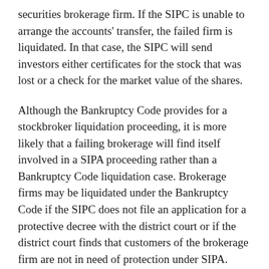securities brokerage firm. If the SIPC is unable to arrange the accounts' transfer, the failed firm is liquidated. In that case, the SIPC will send investors either certificates for the stock that was lost or a check for the market value of the shares.
Although the Bankruptcy Code provides for a stockbroker liquidation proceeding, it is more likely that a failing brokerage will find itself involved in a SIPA proceeding rather than a Bankruptcy Code liquidation case. Brokerage firms may be liquidated under the Bankruptcy Code if the SIPC does not file an application for a protective decree with the district court or if the district court finds that customers of the brokerage firm are not in need of protection under SIPA.
The essential difference between a liquidation under the Bankruptcy Code and one under SIPA is that under the Bankruptcy Code the trustee is charged with converting securities to cash as quickly as possible and, with the